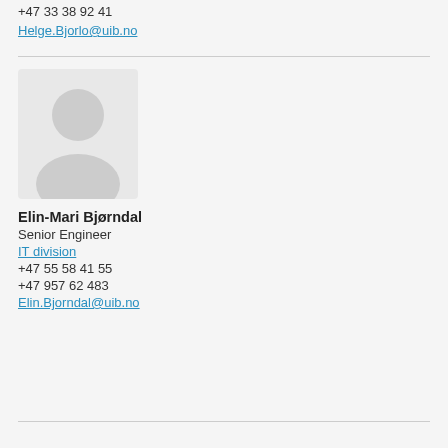+47 33 38 92 41
Helge.Bjorlo@uib.no
[Figure (illustration): Generic placeholder person avatar silhouette in light gray]
Elin-Mari Bjørndal
Senior Engineer
IT division
+47 55 58 41 55
+47 957 62 483
Elin.Bjorndal@uib.no